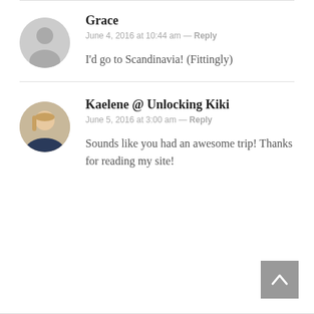Grace
June 4, 2016 at 10:44 am — Reply
I'd go to Scandinavia! (Fittingly)
Kaelene @ Unlocking Kiki
June 5, 2016 at 3:00 am — Reply
Sounds like you had an awesome trip! Thanks for reading my site!